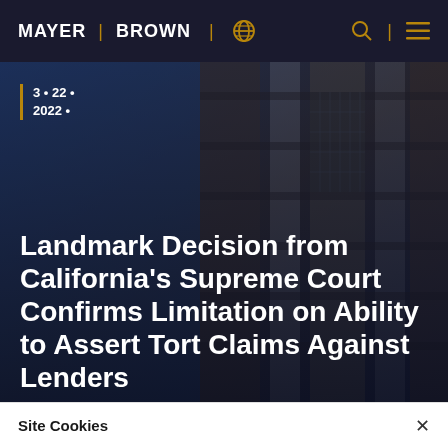MAYER | BROWN
3 • 22 •
2022 •
Landmark Decision from California’s Supreme Court Confirms Limitation on Ability to Assert Tort Claims Against Lenders
Site Cookies